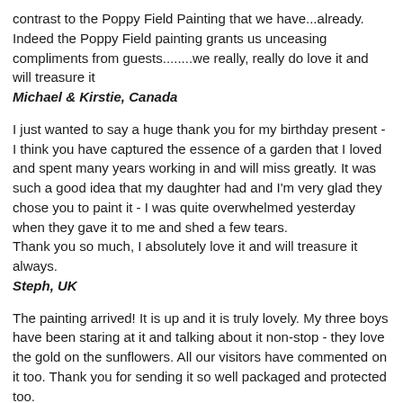contrast to the Poppy Field Painting that we have...already. Indeed the Poppy Field painting grants us unceasing compliments from guests........we really, really do love it and will treasure it
Michael & Kirstie, Canada
I just wanted to say a huge thank you for my birthday present - I think you have captured the essence of a garden that I loved and spent many years working in and will miss greatly. It was such a good idea that my daughter had and I'm very glad they chose you to paint it - I was quite overwhelmed yesterday when they gave it to me and shed a few tears.
Thank you so much, I absolutely love it and will treasure it always.
Steph, UK
The painting arrived! It is up and it is truly lovely. My three boys have been staring at it and talking about it non-stop - they love the gold on the sunflowers. All our visitors have commented on it too. Thank you for sending it so well packaged and protected too.
Yvonne, France
Superb Placemats! - Thank you so much for your lovely placemats, and for the sweet fridge magnet! I am really delighted with them. I have been looking for mats with a melamine finish for some time and the beautiful orange tulips print from one of